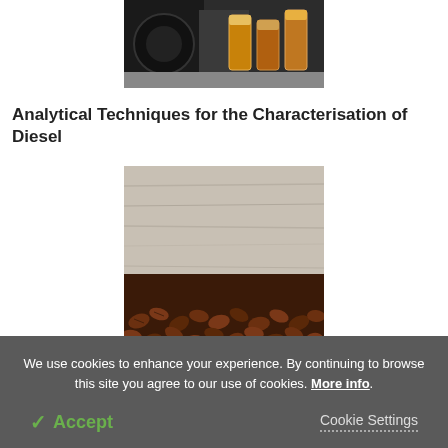[Figure (photo): Photo of diesel samples in glass containers on a table with machinery in background]
Analytical Techniques for the Characterisation of Diesel
[Figure (photo): Photo of roasted coffee beans scattered on a wooden surface]
Antioxidant Properties of Coffee
We use cookies to enhance your experience. By continuing to browse this site you agree to our use of cookies. More info.
✓ Accept
Cookie Settings